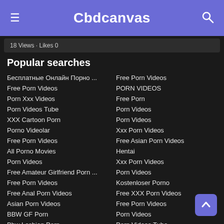Cbdcanvas
18 Views · Likes 0
Popular searches
Бесплатные Онлайн Порно ...
Free Porn Videos
Porn Xxx Videos
Porn Videos Tube
XXX Cartoon Porn
Porno Videolar
Free Porn Videos
All Porno Movies
Porn Videos
Free Amateur Girlfriend Porn ...
Free Porn Videos
Free Anal Porn Videos
Asian Porn Videos
BBW GF Porn
Bbw Lesbian Porn
Beastiality Porn Movies
Free Porn Videos
PORN VIDEOS
Free Porn
Porn Videos
Porn Videos
Xxx Porn Videos
Free Asian Porn Videos
Hentai
Xxx Porn Videos
Porn Videos
Kostenloser Porno
Free XXX Porn Videos
Free Porn Videos
Porn Videos
Porn Videos Tube
Free Porn Videos